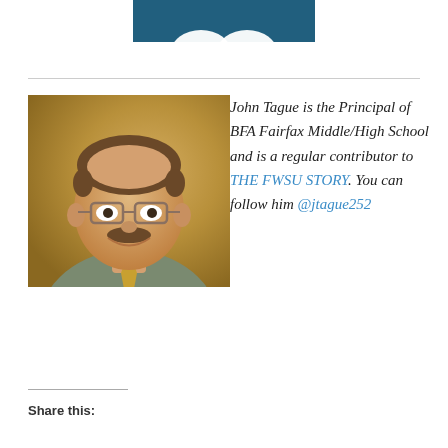[Figure (photo): Partial top banner with teal/dark blue background, showing bottom portion of a logo or graphic element]
[Figure (photo): Professional headshot of John Tague, a middle-aged man with glasses and a mustache, wearing a gray collared shirt and patterned tie, photographed against a warm golden-brown background]
John Tague is the Principal of BFA Fairfax Middle/High School and is a regular contributor to THE FWSU STORY. You can follow him @jtague252
Share this: